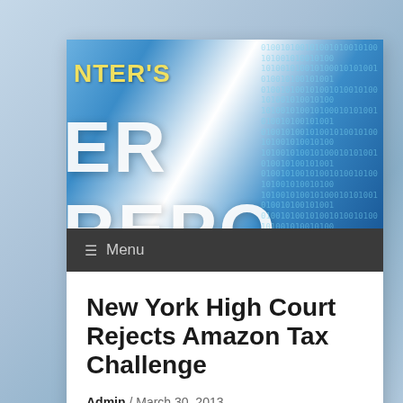[Figure (screenshot): Website banner showing 'NTER'S' text and 'ER REPO' large text on a blue digital background with binary numbers overlay]
≡ Menu
New York High Court Rejects Amazon Tax Challenge
Admin / March 30, 2013